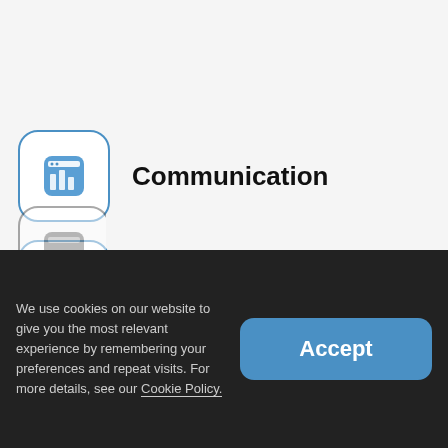[Figure (screenshot): Left navigation arrow button (gray, with < chevron)]
[Figure (screenshot): Right navigation arrow button (gray, with > chevron)]
[Figure (illustration): Blue rounded icon box with bar-chart/app icon]
Communication
[Figure (illustration): Blue rounded icon box with list/search icon]
Transparency
We use cookies on our website to give you the most relevant experience by remembering your preferences and repeat visits. For more details, see our Cookie Policy.
Accept